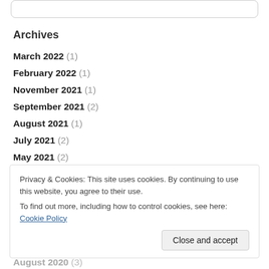Archives
March 2022 (1)
February 2022 (1)
November 2021 (1)
September 2021 (2)
August 2021 (1)
July 2021 (2)
May 2021 (2)
February 2021 (2)
Privacy & Cookies: This site uses cookies. By continuing to use this website, you agree to their use.
To find out more, including how to control cookies, see here: Cookie Policy
August 2020 (3)